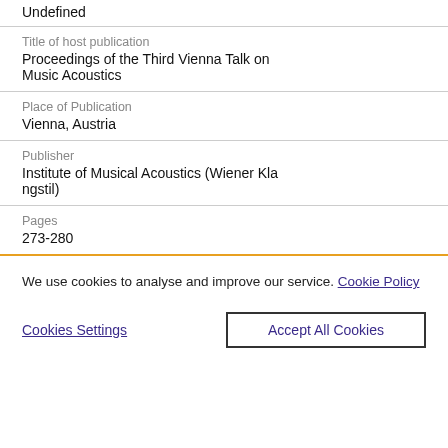Undefined
Title of host publication
Proceedings of the Third Vienna Talk on Music Acoustics
Place of Publication
Vienna, Austria
Publisher
Institute of Musical Acoustics (Wiener Klangstil)
Pages
273-280
We use cookies to analyse and improve our service. Cookie Policy
Cookies Settings
Accept All Cookies